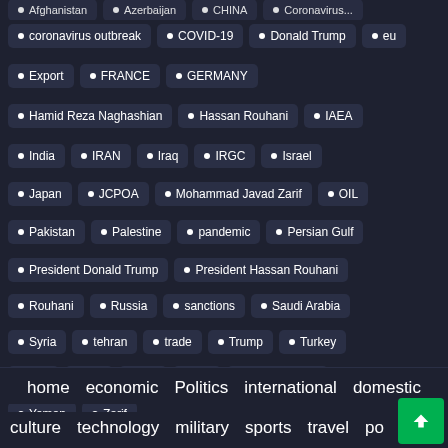coronavirus outbreak
COVID-19
Donald Trump
eu
Export
FRANCE
GERMANY
Hamid Reza Naghashian
Hassan Rouhani
IAEA
India
IRAN
Iraq
IRGC
Israel
Japan
JCPOA
Mohammad Javad Zarif
OIL
Pakistan
Palestine
pandemic
Persian Gulf
President Donald Trump
President Hassan Rouhani
Rouhani
Russia
sanctions
Saudi Arabia
Syria
tehran
trade
Trump
Turkey
U.S
UK
UN
US
US sanctions
Yemen
Zarif
home   economic   Politics   international   domestic   culture   technology   military   sports   travel   po...